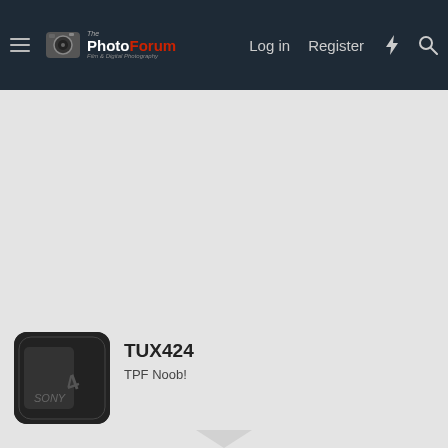ThePhotoForum Film & Digital Photography — Log in | Register
[Figure (screenshot): Large empty/dark image area taking up most of the page body]
TUX424
TPF Noob!